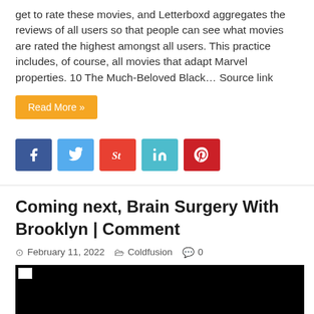get to rate these movies, and Letterboxd aggregates the reviews of all users so that people can see what movies are rated the highest amongst all users. This practice includes, of course, all movies that adapt Marvel properties. 10 The Much-Beloved Black… Source link
Read More »
[Figure (infographic): Social share buttons: Facebook (blue), Twitter (light blue), StumbleUpon (red-orange), LinkedIn (teal), Pinterest (red)]
Coming next, Brain Surgery With Brooklyn | Comment
February 11, 2022  Coldfusion  0
[Figure (photo): Black image/video thumbnail with a broken image icon in top-left corner]